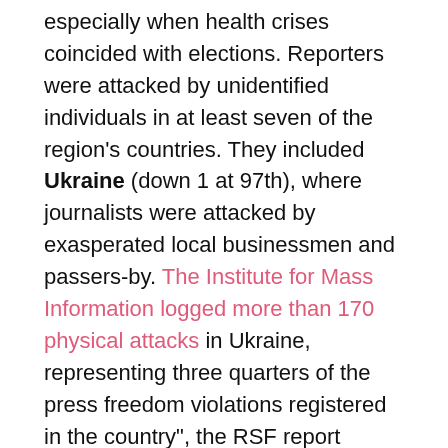especially when health crises coincided with elections. Reporters were attacked by unidentified individuals in at least seven of the region's countries. They included Ukraine (down 1 at 97th), where journalists were attacked by exasperated local businessmen and passers-by. The Institute for Mass Information logged more than 170 physical attacks in Ukraine, representing three quarters of the press freedom violations registered in the country", the RSF report reads.
Belarus slid by five positions and took 158th place due to "an unprecedented crackdown (against the press – n/ed.) in an attempt to cover up the massive street protests in response to the contested presidential election result".
Russia lost one position and took 150th place in the RSF index. The country, according to the report, is moving towards an increasingly repressive model against